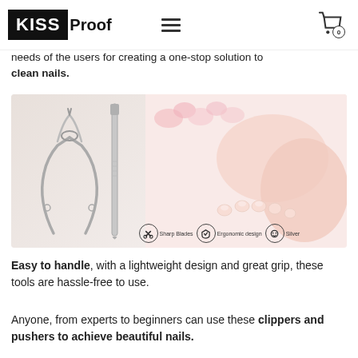KISSProof — navigation header with logo, hamburger menu, and cart icon (0 items)
needs of the users for creating a one-stop solution to clean nails.
[Figure (photo): Product photo showing cuticle nippers and a double-ended pusher tool on the left against a soft pink background, and manicured hands and feet on the right. Bottom feature bar shows icons for Sharp Blades, Ergonomic design, and Silver.]
Easy to handle, with a lightweight design and great grip, these tools are hassle-free to use.
Anyone, from experts to beginners can use these clippers and pushers to achieve beautiful nails.